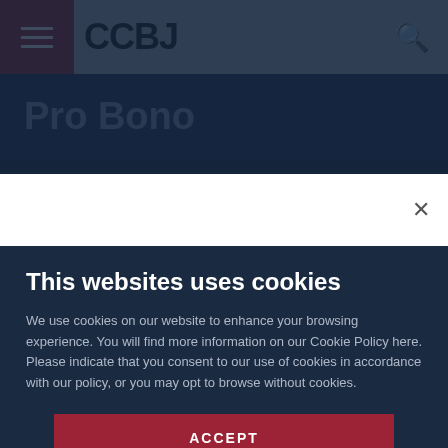CCBJ
Pro Bono
More Pro Bono Articles
This websites uses cookies
We use cookies on our website to enhance your browsing experience. You will find more information on our Cookie Policy here. Please indicate that you consent to our use of cookies in accordance with our policy, or you may opt to browse without cookies.
ACCEPT
Read more or opt-out